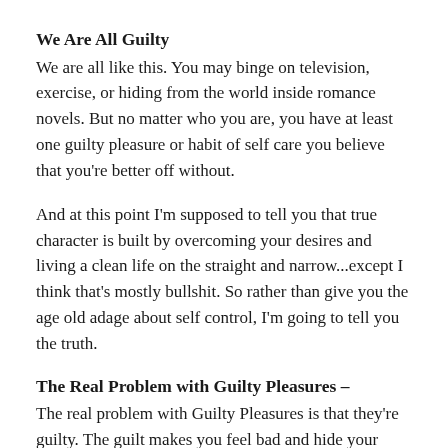We Are All Guilty
We are all like this. You may binge on television, exercise, or hiding from the world inside romance novels. But no matter who you are, you have at least one guilty pleasure or habit of self care you believe that you're better off without.
And at this point I'm supposed to tell you that true character is built by overcoming your desires and living a clean life on the straight and narrow...except I think that's mostly bullshit. So rather than give you the age old adage about self control, I'm going to tell you the truth.
The Real Problem with Guilty Pleasures –
The real problem with Guilty Pleasures is that they're guilty. The guilt makes you feel bad and hide your